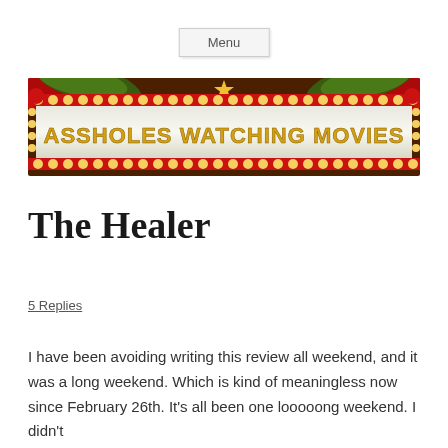Menu
[Figure (illustration): Movie theater marquee banner reading 'ASSHOLES WATCHING MOVIES' in gold letters on a white board, surrounded by red curtains, green decorative fans, and rows of yellow lightbulbs on a dark red frame, with a gold star at the top center.]
The Healer
5 Replies
I have been avoiding writing this review all weekend, and it was a long weekend. Which is kind of meaningless now since February 26th. It's all been one looooong weekend. I didn't